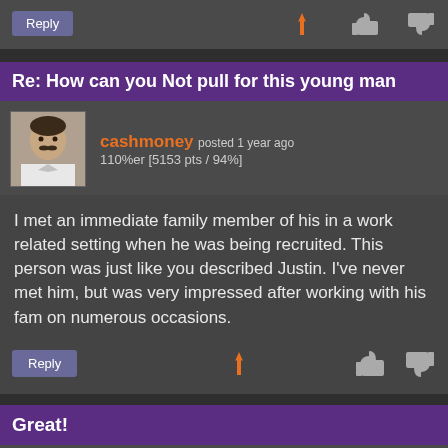[Figure (screenshot): Forum comment action bar with Reply button, flag icon, thumbs down and thumbs up icons]
Re: How can you Not pull for this young man
[Figure (photo): User avatar of cashmoney - man with mustache]
cashmoney posted 1 year ago
110%er [5153 pts / 94%]
I met an immediate family member of his in a work related setting when he was being recruited. This person was just like you described Justin. I've never met him, but was very impressed after working with his fam on numerous occasions.
[Figure (screenshot): Reply button, flag icon, thumbs down and thumbs up icons for cashmoney comment]
Great!
[Figure (logo): Clemson Tigers paw logo avatar for oldhaitianrat]
oldhaitianrat® posted 1 year ago
Commissioner [954 pts / 100%]
I'm glad for him.